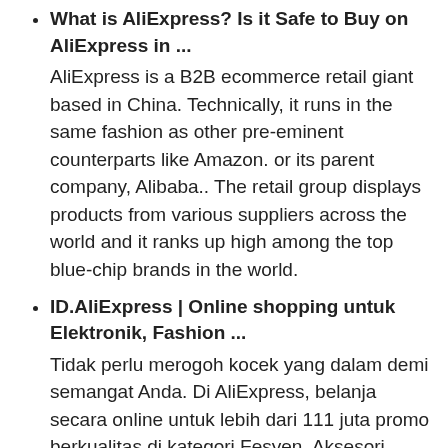What is AliExpress? Is it Safe to Buy on AliExpress in ...
AliExpress is a B2B ecommerce retail giant based in China. Technically, it runs in the same fashion as other pre-eminent counterparts like Amazon. or its parent company, Alibaba.. The retail group displays products from various suppliers across the world and it ranks up high among the top blue-chip brands in the world.
ID.AliExpress | Online shopping untuk Elektronik, Fashion ...
Tidak perlu merogoh kocek yang dalam demi semangat Anda. Di AliExpress, belanja secara online untuk lebih dari 111 juta promo berkualitas di kategori Fesyen, Aksesori, Elektronik Komputer, Mainan, Perkakas, Perbaikan Rumah, Online Shopping untuk Otomotif, Phones, Aksesoris, Beauty, Health, Sports, Weddings, Peralatan